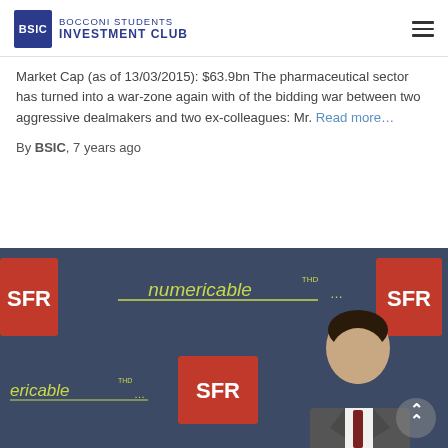BOCCONI STUDENTS INVESTMENT CLUB
Market Cap (as of 13/03/2015): $63.9bn The pharmaceutical sector has turned into a war-zone again with of the bidding war between two aggressive dealmakers and two ex-colleagues: Mr. Read more...
By BSIC, 7 years ago
[Figure (photo): Photo of a man in a suit standing in front of a Numericable THD and SFR branded backdrop. Red SFR logo squares visible on left and right sides. The brand 'numericable' with THD superscript and ellipsis shown in the center.]